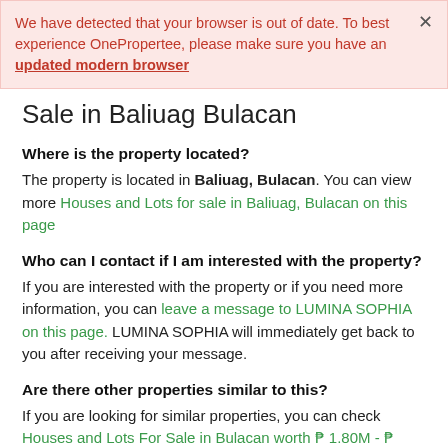We have detected that your browser is out of date. To best experience OnePropertee, please make sure you have an updated modern browser
Sale in Baliuag Bulacan
Where is the property located?
The property is located in Baliuag, Bulacan. You can view more Houses and Lots for sale in Baliuag, Bulacan on this page
Who can I contact if I am interested with the property?
If you are interested with the property or if you need more information, you can leave a message to LUMINA SOPHIA on this page. LUMINA SOPHIA will immediately get back to you after receiving your message.
Are there other properties similar to this?
If you are looking for similar properties, you can check Houses and Lots For Sale in Bulacan worth ₱ 1.80M - ₱